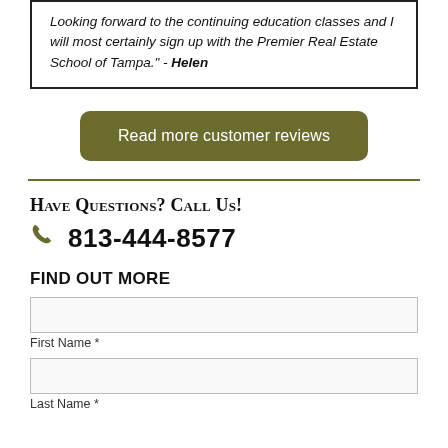Looking forward to the continuing education classes and I will most certainly sign up with the Premier Real Estate School of Tampa." - Helen
Read more customer reviews
Have Questions? Call Us!
813-444-8577
FIND OUT MORE
First Name *
Last Name *